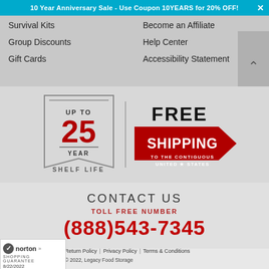10 Year Anniversary Sale - Use Coupon 10YEARS for 20% OFF!
Survival Kits
Become an Affiliate
Group Discounts
Help Center
Gift Cards
Accessibility Statement
[Figure (infographic): Up to 25 Year Shelf Life badge and Free Shipping to the Contiguous United States arrow graphic]
CONTACT US
TOLL FREE NUMBER
(888)543-7345
Return Policy | Privacy Policy | Terms & Conditions © 2022, Legacy Food Storage